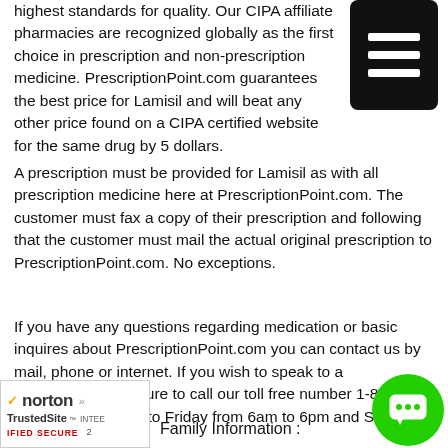highest standards for quality. Our CIPA affiliate pharmacies are recognized globally as the first choice in prescription and non-prescription medicine. PrescriptionPoint.com guarantees the best price for Lamisil and will beat any other price found on a CIPA certified website for the same drug by 5 dollars.
A prescription must be provided for Lamisil as with all prescription medicine here at PrescriptionPoint.com. The customer must fax a copy of their prescription and following that the customer must mail the actual original prescription to PrescriptionPoint.com. No exceptions.
If you have any questions regarding medication or basic inquires about PrescriptionPoint.com you can contact us by mail, phone or internet. If you wish to speak to a representative be sure to call our toll free number 1-877-244-0431 from Monday to Friday from 6am to 6pm and Saturdays from 7am
[Figure (logo): Norton TrustedSite security badge]
Family Information :
[Figure (other): Black square hamburger menu button icon in top right corner]
[Figure (other): Green circular chat button icon in bottom right corner]